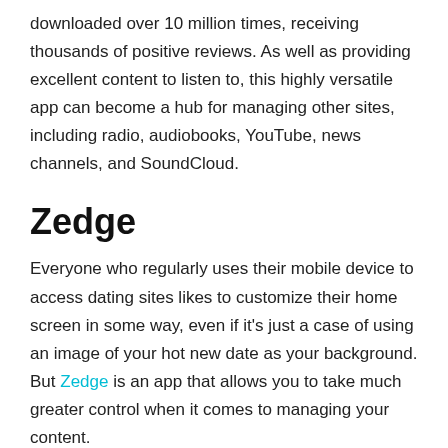downloaded over 10 million times, receiving thousands of positive reviews. As well as providing excellent content to listen to, this highly versatile app can become a hub for managing other sites, including radio, audiobooks, YouTube, news channels, and SoundCloud.
Zedge
Everyone who regularly uses their mobile device to access dating sites likes to customize their home screen in some way, even if it's just a case of using an image of your hot new date as your background. But Zedge is an app that allows you to take much greater control when it comes to managing your content.
You can choose from free ringtones, all downloadable in high quality. There's a fabulous selection of wallpapers to choose from, as well as home screen icons that will make your gallery...